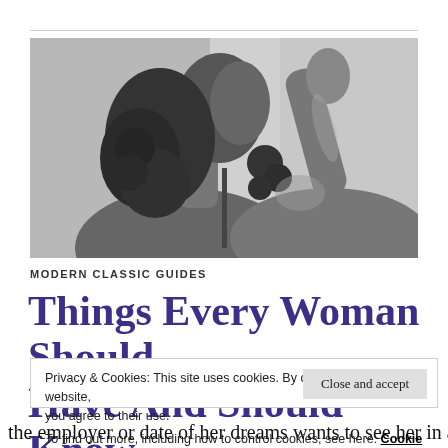[Figure (photo): Black and white photo of a woman with natural curly hair, looking upward with her hand raised near her face, wearing a thin-strap top.]
MODERN CLASSIC GUIDES
Things Every Woman Should Have And Should Know
Privacy & Cookies: This site uses cookies. By continuing to use this website, you agree to their use.
To find out more, including how to control cookies, see here: Cookie Policy
[Close and accept button]
the employer or date of her dreams wants to see her in an